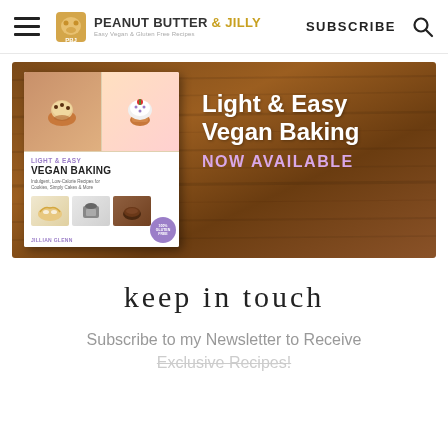Peanut Butter & Jilly — Easy Vegan & Gluten Free Recipes | SUBSCRIBE
[Figure (photo): Promotional banner for 'Light & Easy Vegan Baking' cookbook on a wood background. Shows the book cover with food photos and the text 'Light & Easy Vegan Baking NOW AVAILABLE' in white and pink.]
keep in touch
Subscribe to my Newsletter to Receive Exclusive Recipes!